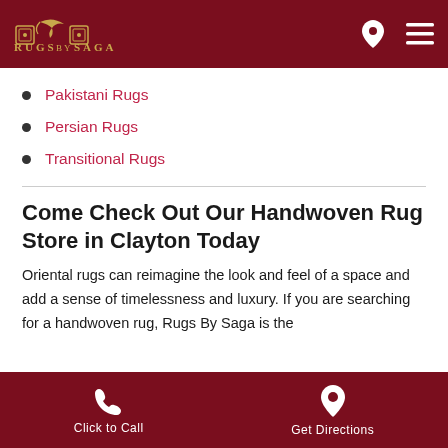Rugs By Saga
Pakistani Rugs
Persian Rugs
Transitional Rugs
Come Check Out Our Handwoven Rug Store in Clayton Today
Oriental rugs can reimagine the look and feel of a space and add a sense of timelessness and luxury. If you are searching for a handwoven rug, Rugs By Saga is the
Click to Call   Get Directions